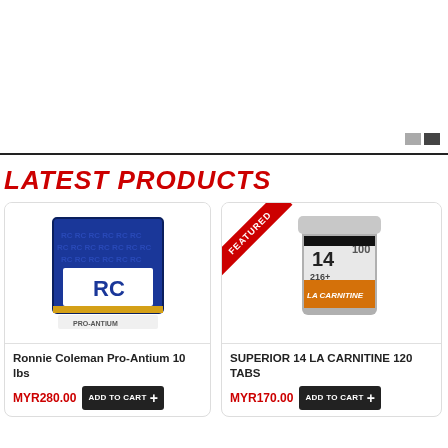[Figure (photo): Banner/slider area at the top of the page, white background with navigation dots in the bottom right corner]
LATEST PRODUCTS
[Figure (photo): Product card for Ronnie Coleman Pro-Antium 10 lbs showing blue and white branded packaging with RC logo]
Ronnie Coleman Pro-Antium 10 lbs
MYR280.00
[Figure (photo): Product card for SUPERIOR 14 LA CARNITINE 120 TABS with a FEATURED ribbon, showing a silver/orange supplement container]
SUPERIOR 14 LA CARNITINE 120 TABS
MYR170.00